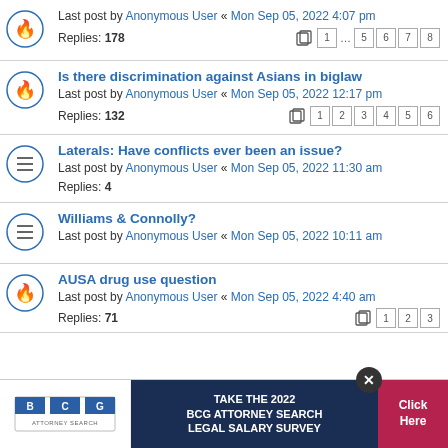Last post by Anonymous User « Mon Sep 05, 2022 4:07 pm | Replies: 178 | Pages: 1 ... 5 6 7 8
Is there discrimination against Asians in biglaw | Last post by Anonymous User « Mon Sep 05, 2022 12:17 pm | Replies: 132 | Pages: 1 2 3 4 5 6
Laterals: Have conflicts ever been an issue? | Last post by Anonymous User « Mon Sep 05, 2022 11:30 am | Replies: 4
Williams & Connolly? | Last post by Anonymous User « Mon Sep 05, 2022 10:11 am
AUSA drug use question | Last post by Anonymous User « Mon Sep 05, 2022 4:40 am | Replies: 71 | Pages: 1 2 3
[Figure (infographic): BCG Attorney Search advertisement banner: Take the 2022 BCG Attorney Search Legal Salary Survey. Click Here button. Close (X) button overlay.]